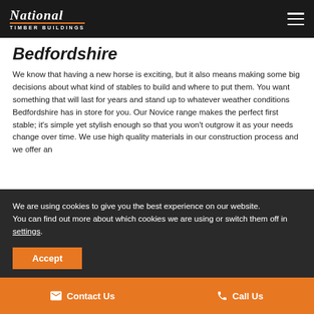National Timber Buildings
Bedfordshire
We know that having a new horse is exciting, but it also means making some big decisions about what kind of stables to build and where to put them. You want something that will last for years and stand up to whatever weather conditions Bedfordshire has in store for you. Our Novice range makes the perfect first stable; it's simple yet stylish enough so that you won't outgrow it as your needs change over time. We use high quality materials in our construction process and we offer an...
We are using cookies to give you the best experience on our website.
You can find out more about which cookies we are using or switch them off in settings.
Accept
Contact Us   Call Us